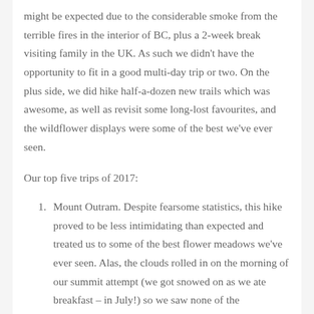might be expected due to the considerable smoke from the terrible fires in the interior of BC, plus a 2-week break visiting family in the UK. As such we didn't have the opportunity to fit in a good multi-day trip or two. On the plus side, we did hike half-a-dozen new trails which was awesome, as well as revisit some long-lost favourites, and the wildflower displays were some of the best we've ever seen.
Our top five trips of 2017:
Mount Outram. Despite fearsome statistics, this hike proved to be less intimidating than expected and treated us to some of the best flower meadows we've ever seen. Alas, the clouds rolled in on the morning of our summit attempt (we got snowed on as we ate breakfast – in July!) so we saw none of the